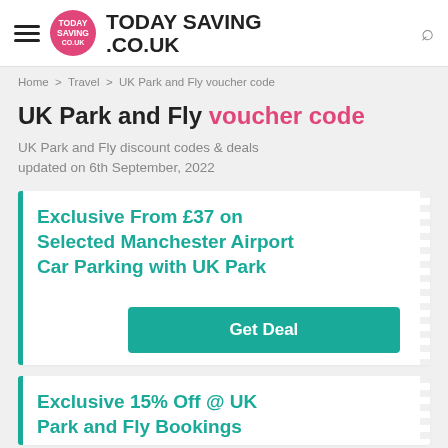TODAY SAVING .CO.UK
Home > Travel > UK Park and Fly voucher code
UK Park and Fly voucher code
UK Park and Fly discount codes & deals updated on 6th September, 2022
Exclusive From £37 on Selected Manchester Airport Car Parking with UK Park — Get Deal
Exclusive 15% Off @ UK Park and Fly Bookings